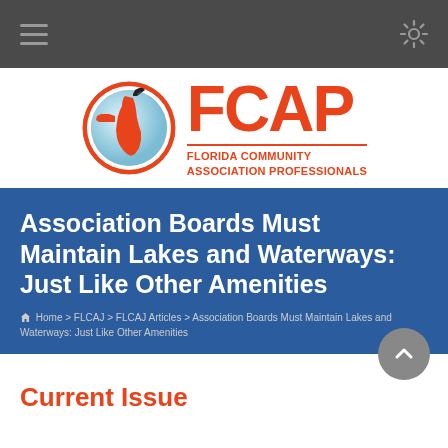[Figure (logo): FCAP Florida Community Association Professionals logo with Florida state map in a circular badge and bold FCAP text]
Association Boards Must Maintain Lakes and Waterways: Just Like Other Amenities
Home > FLCAJ > FLCAJ Articles > Association Boards Must Maintain Lakes and Waterways: Just Like Other Amenities
Current Issue